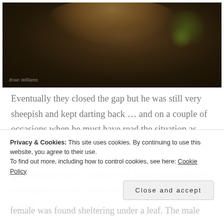[Figure (photo): Close-up macro photograph of a spider on a web against a dark blurred green and brown background. Watermark text visible in bottom-left corner.]
Eventually they closed the gap but he was still very sheepish and kept darting back … and on a couple of occasions when he must have read the situation as potentially dangerous rather than amorous he used his pre-made quick release safety line to swing back a good distance out of harms way. They must have been playing this cat and mouse courtship game for a couple
Privacy & Cookies: This site uses cookies. By continuing to use this website, you agree to their use.
To find out more, including how to control cookies, see here: Cookie Policy
female was found sheltering under a leaf. The male was